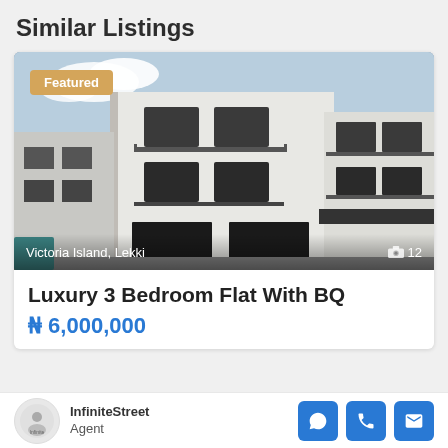Similar Listings
[Figure (photo): Exterior photo of a modern multi-story residential apartment building with white facade, dark railings, balconies, and glass windows. Location label: Victoria Island, Lekki. Photo count: 12. Featured badge in top-left.]
Luxury 3 Bedroom Flat With BQ
₦ 6,000,000
InfiniteStreet Agent